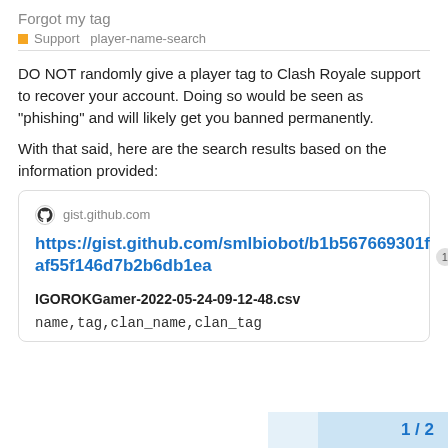Forgot my tag
■ Support  player-name-search
DO NOT randomly give a player tag to Clash Royale support to recover your account. Doing so would be seen as “phishing” and will likely get you banned permanently.
With that said, here are the search results based on the information provided:
[Figure (screenshot): A card/link preview from gist.github.com showing a GitHub gist URL: https://gist.github.com/smlbiobot/b1b567669301faf55f146d7b2b6db1ea with a badge showing '1', followed by a filename IGOROKGamer-2022-05-24-09-12-48.csv and code text: name,tag,clan_name,clan_tag]
1 / 2